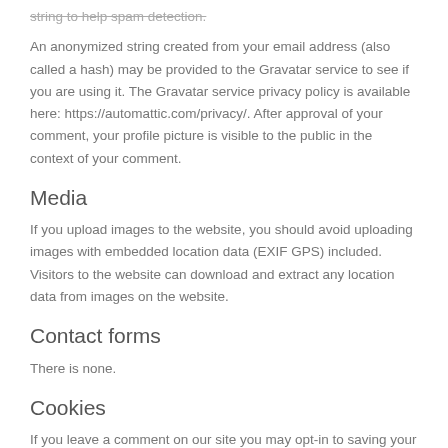string to help spam detection.
An anonymized string created from your email address (also called a hash) may be provided to the Gravatar service to see if you are using it. The Gravatar service privacy policy is available here: https://automattic.com/privacy/. After approval of your comment, your profile picture is visible to the public in the context of your comment.
Media
If you upload images to the website, you should avoid uploading images with embedded location data (EXIF GPS) included. Visitors to the website can download and extract any location data from images on the website.
Contact forms
There is none.
Cookies
If you leave a comment on our site you may opt-in to saving your name, email address and website in cookies. These are for your convenience so that you do not have to fill in your details again when you leave another comment. These cookies will last for one year.